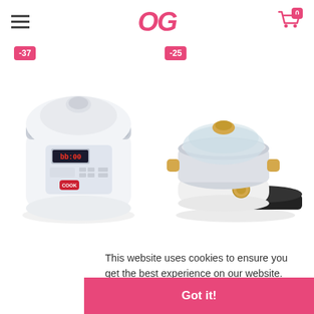OG (logo) with hamburger menu and cart icon
[Figure (photo): White digital rice cooker with silver band and red LED display panel]
[Figure (photo): Stainless steel multi-cooker/hot pot with gold handles, glass lid, and black non-stick pan]
J-Coo
$299.
This website uses cookies to ensure you get the best experience on our website.
Learn more
Got it!